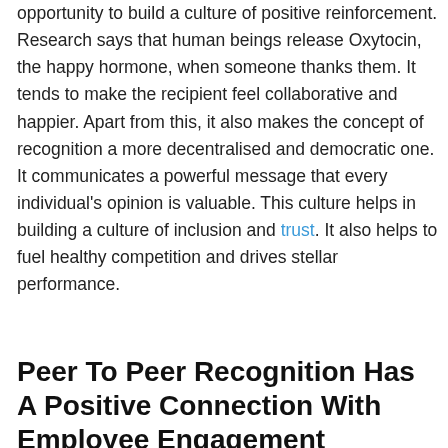opportunity to build a culture of positive reinforcement. Research says that human beings release Oxytocin, the happy hormone, when someone thanks them. It tends to make the recipient feel collaborative and happier. Apart from this, it also makes the concept of recognition a more decentralised and democratic one. It communicates a powerful message that every individual's opinion is valuable. This culture helps in building a culture of inclusion and trust. It also helps to fuel healthy competition and drives stellar performance.
Peer To Peer Recognition Has A Positive Connection With Employee Engagement